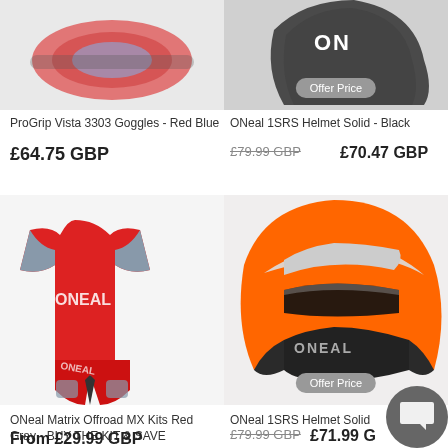[Figure (photo): ProGrip Vista 3303 Goggles - Red Blue product photo, partially cropped at top]
[Figure (photo): ONeal 1SRS Helmet Solid - Black product photo, partially cropped at top, with Offer Price badge]
ProGrip Vista 3303 Goggles - Red Blue
ONeal 1SRS Helmet Solid - Black
£64.75 GBP
£79.99 GBP  £70.47 GBP
[Figure (photo): ONeal Matrix Offroad MX Kits Red Gray - red jersey and red pants with gray accents]
[Figure (photo): ONeal 1SRS Helmet Solid - orange and black helmet with white stripe, Offer Price badge]
ONeal Matrix Offroad MX Kits Red Gray - BUY THE KIT & SAVE
ONeal 1SRS Helmet Solid
From £29.99 GBP
£79.99 GBP  £71.99 G...